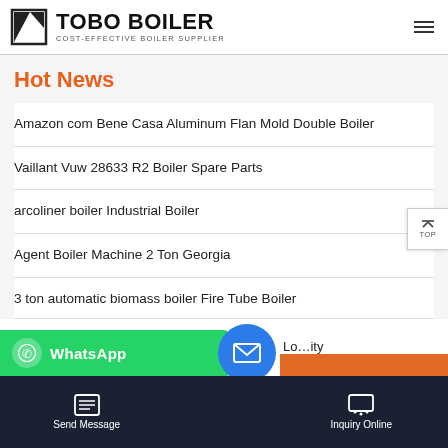TOBO BOILER — COST-EFFECTIVE BOILER SUPPLIER
Hot News
Amazon com Bene Casa Aluminum Flan Mold Double Boiler
Vaillant Vuw 28633 R2 Boiler Spare Parts
arcoliner boiler Industrial Boiler
Agent Boiler Machine 2 Ton Georgia
3 ton automatic biomass boiler Fire Tube Boiler
Send Message | Lo…ity | Inquiry Online